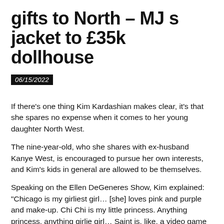gifts to North – MJ s jacket to £35k dollhouse
06/15/2022
If there's one thing Kim Kardashian makes clear, it's that she spares no expense when it comes to her young daughter North West.
The nine-year-old, who she shares with ex-husband Kanye West, is encouraged to pursue her own interests, and Kim's kids in general are allowed to be themselves.
Speaking on the Ellen DeGeneres Show, Kim explained: "Chicago is my girliest girl… [she] loves pink and purple and make-up. Chi Chi is my little princess. Anything princess, anything girlie girl… Saint is, like, a video game tech whizz, amazing.